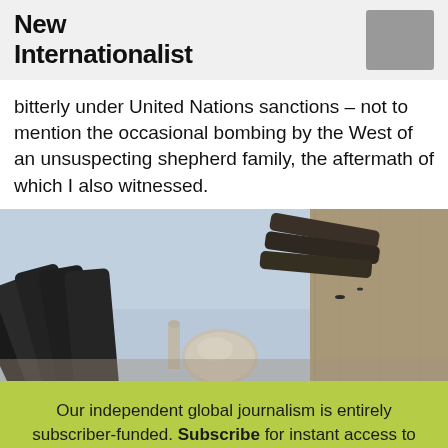New Internationalist
bitterly under United Nations sanctions – not to mention the occasional bombing by the West of an unsuspecting shepherd family, the aftermath of which I also witnessed.
[Figure (photo): Low-angle view of dark metal military artillery tubes/cannons with a concrete pillar on the right and a domed mosque or building visible in the background against a hazy sky.]
Our independent global journalism is entirely subscriber-funded. Subscribe for instant access to our 8-year archive of award-winning magazines. ✗